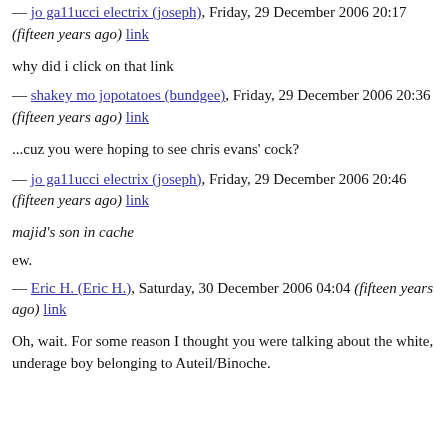— jo ga11ucci electrix (joseph), Friday, 29 December 2006 20:17 (fifteen years ago) link
why did i click on that link
— shakey mo jopotatoes (bundgee), Friday, 29 December 2006 20:36 (fifteen years ago) link
...cuz you were hoping to see chris evans' cock?
— jo ga11ucci electrix (joseph), Friday, 29 December 2006 20:46 (fifteen years ago) link
majid's son in cache
ew.
— Eric H. (Eric H.), Saturday, 30 December 2006 04:04 (fifteen years ago) link
Oh, wait. For some reason I thought you were talking about the white, underage boy belonging to Auteil/Binoche.